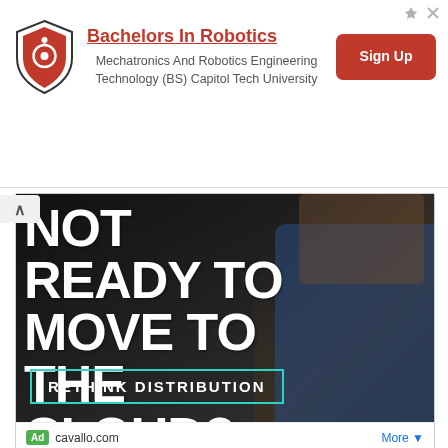[Figure (infographic): Top banner advertisement for Capitol Tech University Bachelors in Robotics program. Features a shield logo on the left, headline 'Bachelors In Robotics' in red underlined text, subtitle 'Mechatronics And Robotics Engineering Technology (BS) Capitol Tech University', and a red 'Sign Up' button on the right.]
[Figure (infographic): Bottom banner advertisement for cavallo.com. Dark background with large white bold text reading 'NOT READY TO MOVE TO THE CLOUD?' and a teal-bordered box with text 'RETHINK DISTRIBUTION'. A person in a denim jacket is partially visible on the right side. Ad label shows 'Ad cavallo.com' and a 'More' button with dropdown arrow.]